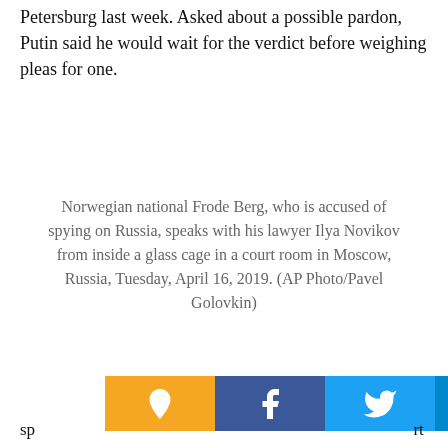Petersburg last week. Asked about a possible pardon, Putin said he would wait for the verdict before weighing pleas for one.
[Figure (photo): Placeholder area for photo of Norwegian national Frode Berg speaking with his lawyer Ilya Novikov from inside a glass cage in a court room in Moscow, Russia, Tuesday, April 16, 2019.]
Norwegian national Frode Berg, who is accused of spying on Russia, speaks with his lawyer Ilya Novikov from inside a glass cage in a court room in Moscow, Russia, Tuesday, April 16, 2019. (AP Photo/Pavel Golovkin)
sp... rt